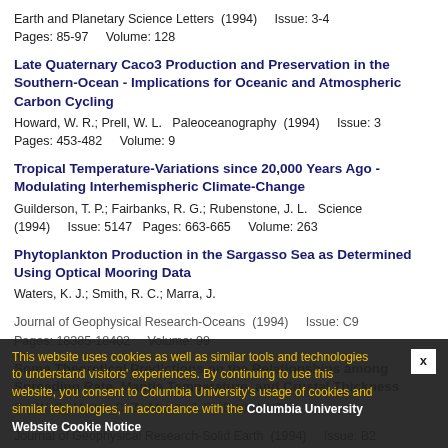Earth and Planetary Science Letters  (1994)    Issue: 3-4 Pages: 85-97    Volume: 128
Late Quaternary Caco3 Production and Preservation in the Southern-Ocean - Implications for Oceanic and Atmospheric Carbon Cycling
Howard, W. R.; Prell, W. L.  Paleoceanography  (1994)    Issue: 3 Pages: 453-482    Volume: 9
Tropical Temperature-Variations since 20,000 Years Ago - Modulating Interhemispheric Climate-Change
Guilderson, T. P.; Fairbanks, R. G.; Rubenstone, J. L.  Science (1994)    Issue: 5147  Pages: 663-665    Volume: 263
Phytoplankton Production in the Sargasso Sea as Determined Using Optical Mooring Data
Waters, K. J.; Smith, R. C.; Marra, J.
Journal of Geophysical Research-Oceans  (1994)    Issue: C9 Pages: 18385-18402    Volume: 99
Some Theoretical Predictions on the Relationships among Spreading Rate, Mantle Temperature, and Crustal Thickness
Su, W. S.; Mutter, C. Z.; Mutter, J. C.; Buck, W. R.
Journal of Geophysical Research-Solid Earth  (1994)    Issue: B2
This website uses cookies as well as similar tools and technologies to understand visitors' experiences. By continuing to use this website, you consent to Columbia University's usage of cookies and similar technologies, in accordance with the Columbia University Website Cookie Notice